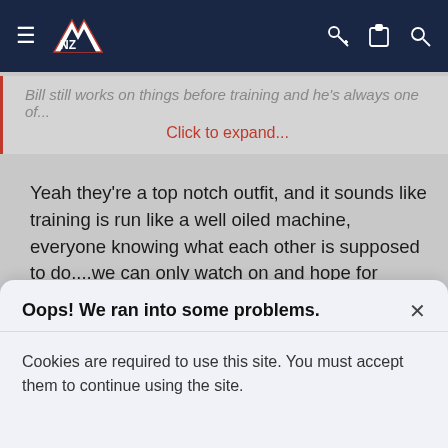Navigation bar with hamburger menu, NZ logo, key icon, clipboard icon, search icon
Bill still works on things before training and he's always one of
Click to expand...
Yeah they're a top notch outfit, and it sounds like training is run like a well oiled machine, everyone knowing what each other is supposed to do....we can only watch on and hope for something similar.

They may be equals leading up to games, but once they cross that white line, the team will know exactly who the bosses are out there. 🙂
Akkerz and mt.wellington
Oops! We ran into some problems.
Cookies are required to use this site. You must accept them to continue using the site.